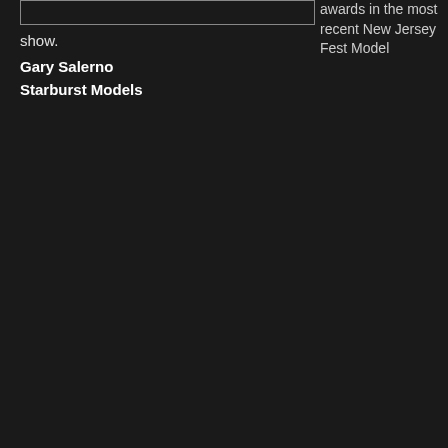[Figure (photo): A rectangular image placeholder or photo with a light border outline on a dark background, positioned in the upper-left area of the page]
awards in the most recent New Jersey Fest Model
show.
Gary Salerno
Starburst Models